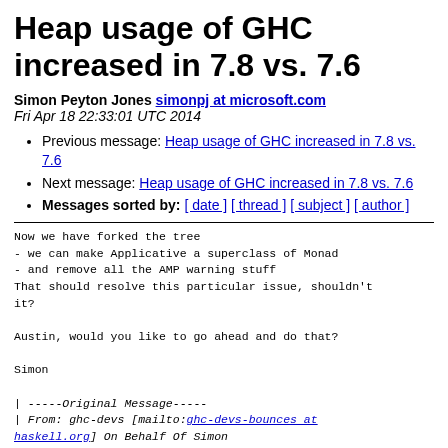Heap usage of GHC increased in 7.8 vs. 7.6
Simon Peyton Jones simonpj at microsoft.com
Fri Apr 18 22:33:01 UTC 2014
Previous message: Heap usage of GHC increased in 7.8 vs. 7.6
Next message: Heap usage of GHC increased in 7.8 vs. 7.6
Messages sorted by: [ date ] [ thread ] [ subject ] [ author ]
Now we have forked the tree
- we can make Applicative a superclass of Monad
- and remove all the AMP warning stuff
That should resolve this particular issue, shouldn't
it?

Austin, would you like to go ahead and do that?

Simon

| -----Original Message-----
| From: ghc-devs [mailto:ghc-devs-bounces at
haskell.org] On Behalf Of Simon